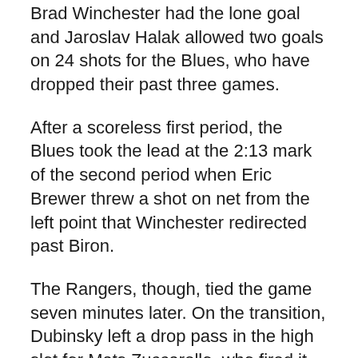Brad Winchester had the lone goal and Jaroslav Halak allowed two goals on 24 shots for the Blues, who have dropped their past three games.
After a scoreless first period, the Blues took the lead at the 2:13 mark of the second period when Eric Brewer threw a shot on net from the left point that Winchester redirected past Biron.
The Rangers, though, tied the game seven minutes later. On the transition, Dubinsky left a drop pass in the high slot for Mats Zuccarello, who fired it over to the right where Stepan blasted it past Halak.
Avery then made it a 2-1 game with 4:34 to play in the second when his wrister beat Halak for just his second goal of the...